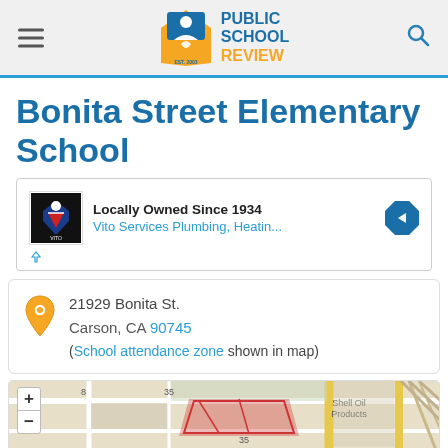Public School Review
Bonita Street Elementary School
[Figure (infographic): Advertisement banner: Locally Owned Since 1934 - Vito Services Plumbing, Heatin... with logo and arrow icon]
21929 Bonita St.
Carson, CA 90745
(School attendance zone shown in map)
[Figure (map): Street map showing Bonita Street Elementary School area in Carson, CA with Shell Oil Products label visible, zoom controls (+/-), and school attendance zone highlighted in red]